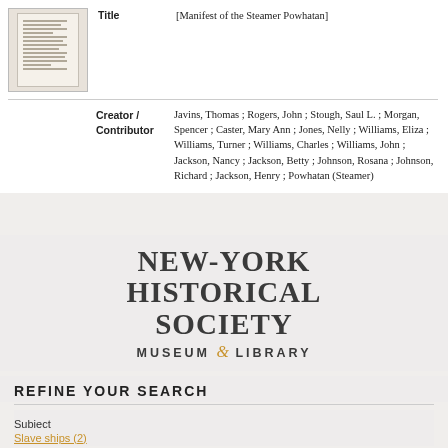| Field | Value |
| --- | --- |
| Title | [Manifest of the Steamer Powhatan] |
| Creator / Contributor | Javins, Thomas ; Rogers, John ; Stough, Saul L. ; Morgan, Spencer ; Caster, Mary Ann ; Jones, Nelly ; Williams, Eliza ; Williams, Turner ; Williams, Charles ; Williams, John ; Jackson, Nancy ; Jackson, Betty ; Johnson, Rosana ; Johnson, Richard ; Jackson, Henry ; Powhatan (Steamer) |
[Figure (logo): New-York Historical Society Museum & Library logo with bold serif text on grey background]
REFINE YOUR SEARCH
Subject
Slave ships (2)